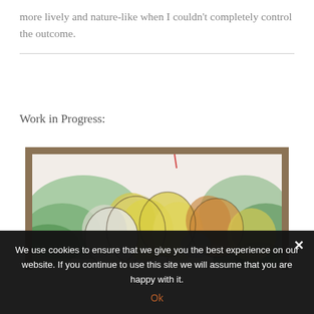more lively and nature-like when I couldn't completely control the outcome.
Work in Progress:
[Figure (photo): A watercolor painting in progress showing flowers with yellow, green, orange, and blue washes on white paper, placed on a brown background surface. A thin red vertical line is visible at the top of the painting.]
We use cookies to ensure that we give you the best experience on our website. If you continue to use this site we will assume that you are happy with it.